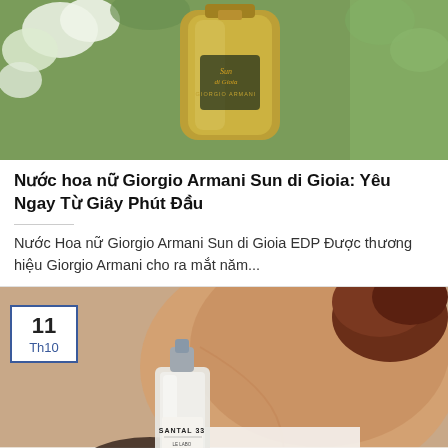[Figure (photo): Close-up of Giorgio Armani Sun di Gioia perfume bottle in gold/green glass with white flowers in background]
Nước hoa nữ Giorgio Armani Sun di Gioia: Yêu Ngay Từ Giây Phút Đầu
Nước Hoa nữ Giorgio Armani Sun di Gioia EDP Được thương hiệu Giorgio Armani cho ra mắt năm...
[Figure (photo): Person holding a Le Labo Santal 33 perfume bottle, photographed from behind showing neck and shoulder, wearing white top]